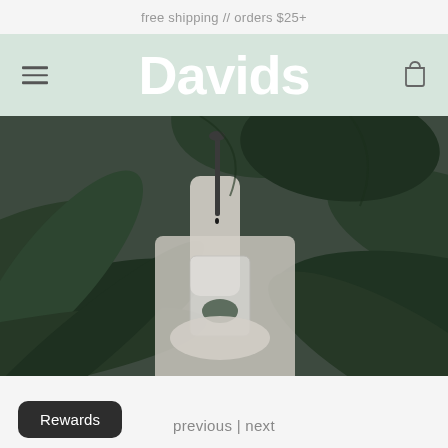free shipping // orders $25+
Davids
[Figure (photo): Person holding a dropper pipette over a glass container surrounded by large green tropical leaves, person wearing white long-sleeve top]
Rewards
previous | next